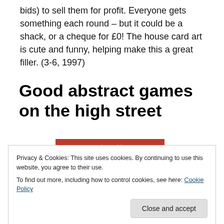bids) to sell them for profit. Everyone gets something each round – but it could be a shack, or a cheque for £0! The house card art is cute and funny, helping make this a great filler. (3-6, 1997)
Good abstract games on the high street
[Figure (photo): Book/game cover with red banner reading 'Reiner Knizia' and partial image below]
Privacy & Cookies: This site uses cookies. By continuing to use this website, you agree to their use.
To find out more, including how to control cookies, see here: Cookie Policy